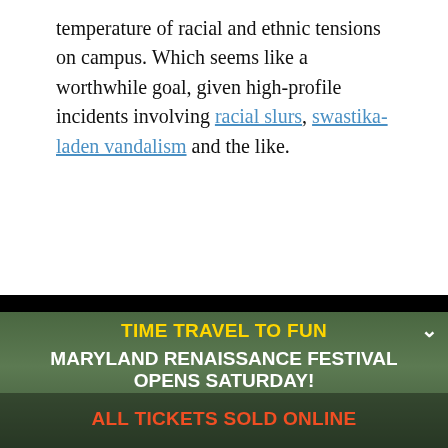temperature of racial and ethnic tensions on campus. Which seems like a worthwhile goal, given high-profile incidents involving racial slurs, swastika-laden vandalism and the like.
[Figure (screenshot): Black video player with white text caption 'Safety and freedom can coexist, right?' and a play button triangle in the center]
[Figure (photo): Advertisement for Maryland Renaissance Festival with text: TIME TRAVEL TO FUN, MARYLAND RENAISSANCE FESTIVAL OPENS SATURDAY! ALL TICKETS SOLD ONLINE. Yellow and white and orange-red text over a photo of festival-goers in period costumes outdoors.]